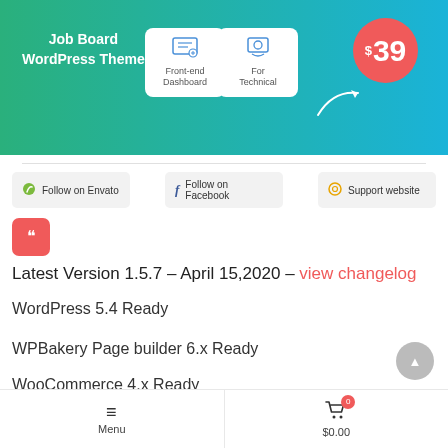[Figure (screenshot): Job Board WordPress Theme banner with price $39, Front-end Dashboard and For Technical cards, green to blue gradient background]
Follow on Envato
Follow on Facebook
Support website
Latest Version 1.5.7 – April 15,2020 – view changelog
WordPress 5.4 Ready
WPBakery Page builder 6.x Ready
WooCommerce 4.x Ready
Menu  $0.00  0